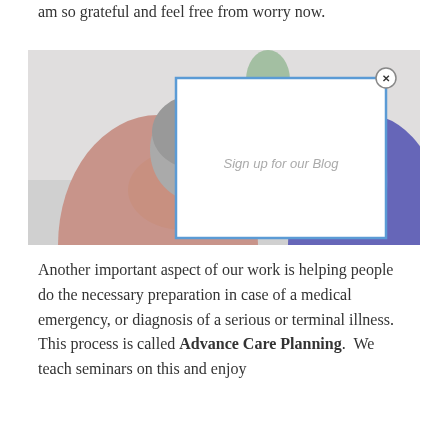am so grateful and feel free from worry now.
[Figure (photo): Two people from behind, one with grey hair wearing a pink/mauve top, the other wearing a purple top, with a white modal popup overlay showing 'Sign up for our Blog' with a blue border and close button]
Another important aspect of our work is helping people do the necessary preparation in case of a medical emergency, or diagnosis of a serious or terminal illness.  This process is called Advance Care Planning.  We teach seminars on this and enjoy